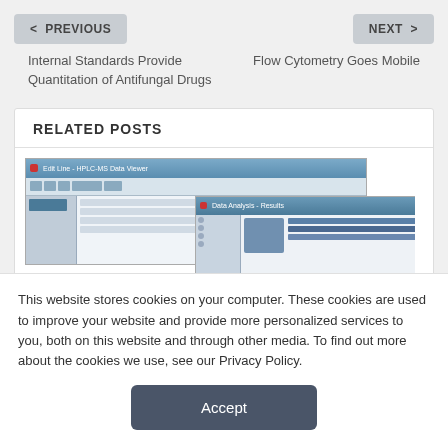< PREVIOUS
NEXT >
Internal Standards Provide Quantitation of Antifungal Drugs
Flow Cytometry Goes Mobile
RELATED POSTS
[Figure (screenshot): Screenshot of a software application window showing a data management or laboratory information system interface, with a second overlapping software window visible]
This website stores cookies on your computer. These cookies are used to improve your website and provide more personalized services to you, both on this website and through other media. To find out more about the cookies we use, see our Privacy Policy.
Accept